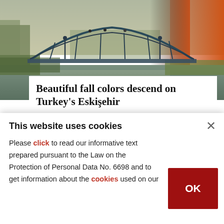[Figure (photo): Autumn park scene with a decorative iron bridge over a calm river/canal, surrounded by trees with fall foliage in orange and red colors, Eskişehir, Turkey]
Beautiful fall colors descend on Turkey's Eskişehir
PHOTOGALLERY
DAILY SABAH
This website uses cookies
Please click to read our informative text prepared pursuant to the Law on the Protection of Personal Data No. 6698 and to get information about the cookies used on our